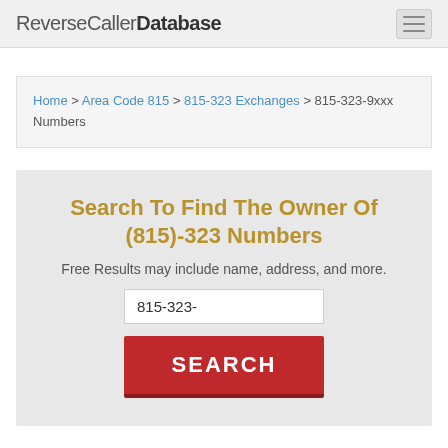ReverseCallerDatabase
Home > Area Code 815 > 815-323 Exchanges > 815-323-9xxx Numbers
Search To Find The Owner Of (815)-323 Numbers
Free Results may include name, address, and more.